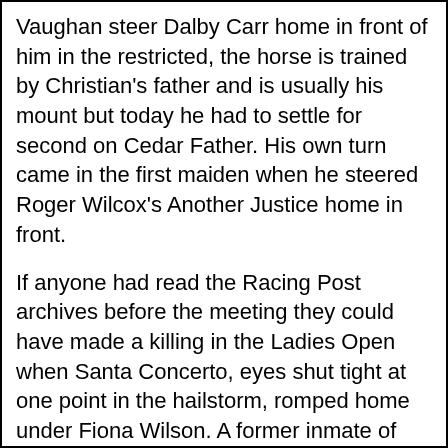Vaughan steer Dalby Carr home in front of him in the restricted, the horse is trained by Christian's father and is usually his mount but today he had to settle for second on Cedar Father. His own turn came in the first maiden when he steered Roger Wilcox's Another Justice home in front.
If anyone had read the Racing Post archives before the meeting they could have made a killing in the Ladies Open when Santa Concerto, eyes shut tight at one point in the hailstorm, romped home under Fiona Wilson. A former inmate of Lenny Lungo, the horse had not run for two years but had previously earned a postmark of 148, completed the John Hughes at Aintree and been aimed at the Hennessey! A former Ayr specialist his previous trainer commented that "the heavier the better now he's getting older..."; why didn't I read that on Friday, not Monday!
Despite the freezing weather it was a good inaugural meeting, with only one severe shower, but when are